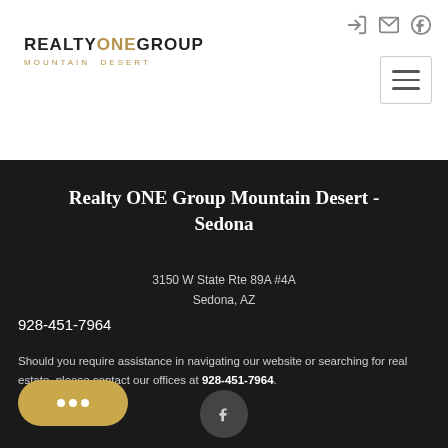[Figure (logo): Realty ONE Group Mountain Desert logo in black and gold text]
Realty ONE Group Mountain Desert - Sedona
3150 W State Rte 89A #4A
Sedona, AZ
928-451-7964
Should you require assistance in navigating our website or searching for real estate, please contact our offices at 928-451-7964.